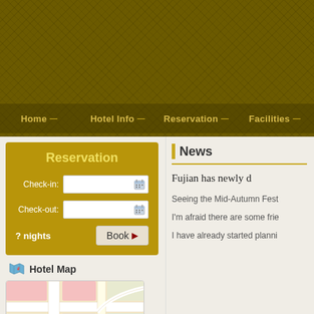[Figure (screenshot): Hotel website header with dark olive/gold patterned background]
Home | Hotel Info | Reservation | Facilities
Reservation
Check-in: [date field]
Check-out: [date field]
? nights   Book ▶
Hotel Map
[Figure (map): Hotel location map thumbnail showing streets and buildings]
News
Fujian has newly d
Seeing the Mid-Autumn Fest
I'm afraid there are some frie
I have already started planni